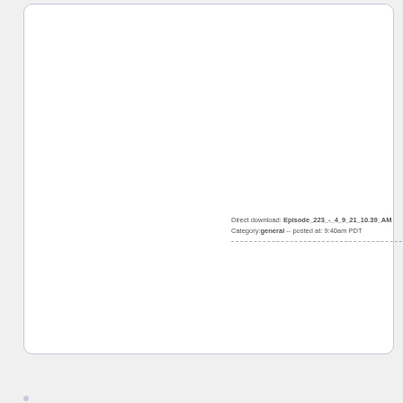Direct download: Episode_223_-_4_9_21_10.39_AM  Category:general -- posted at: 9:40am PDT